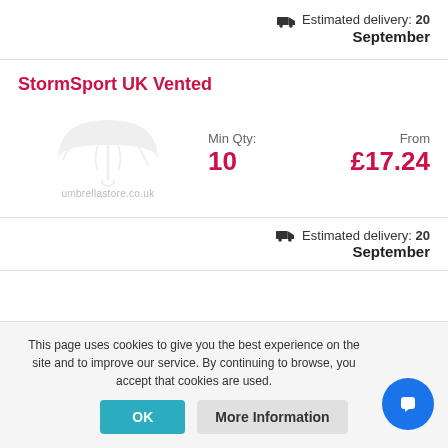Estimated delivery: 20 September
StormSport UK Vented
Min Qty: 10  From £17.24
Estimated delivery: 20 September
This page uses cookies to give you the best experience on the site and to improve our service. By continuing to browse, you accept that cookies are used.
OK  More Information